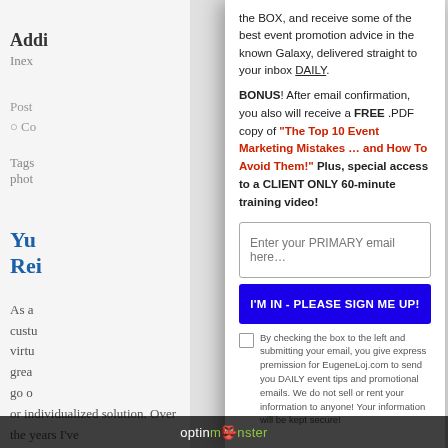Addi
Inex
Post
Co
Tags
phot
You
Rei
As a
custu
virtu
grea
go o
or individualized solution. Over the years I've seen a number of web development
the BOX, and receive some of the best event promotion advice in the known Galaxy, delivered straight to your inbox DAILY.
BONUS! After email confirmation, you also will receive a FREE .PDF copy of "The Top 10 Event Marketing Mistakes … and How To Avoid Them!" Plus, special access to a CLIENT ONLY 60-minute training video!
Enter your PRIMARY email here...
I'M IN - PLEASE SIGN ME UP!
By checking the box to the left and submitting your email, you give express premission for EugeneLoj.com to send you DAILY event tips and promotional emails. We do not sell or rent your information to anyone! Your information will be kept secure!
optinmonster